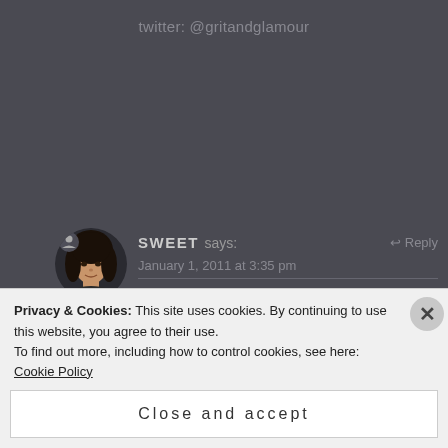twitter: @gritandglamour
[Figure (photo): Circular avatar photo of a woman with dark hair]
SWEET says:
January 1, 2011 at 3:35 pm
thanks V kisses mwuah!!!
NANA says:
Privacy & Cookies: This site uses cookies. By continuing to use this website, you agree to their use.
To find out more, including how to control cookies, see here: Cookie Policy
Close and accept